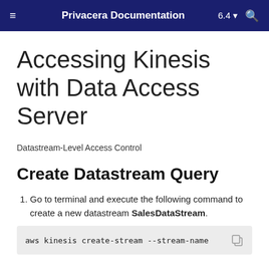Privacera Documentation  6.4
Accessing Kinesis with Data Access Server
Datastream-Level Access Control
Create Datastream Query
Go to terminal and execute the following command to create a new datastream SalesDataStream.
aws kinesis create-stream --stream-name